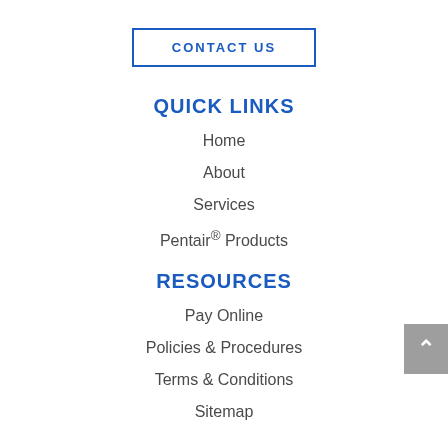CONTACT US
QUICK LINKS
Home
About
Services
Pentair® Products
RESOURCES
Pay Online
Policies & Procedures
Terms & Conditions
Sitemap